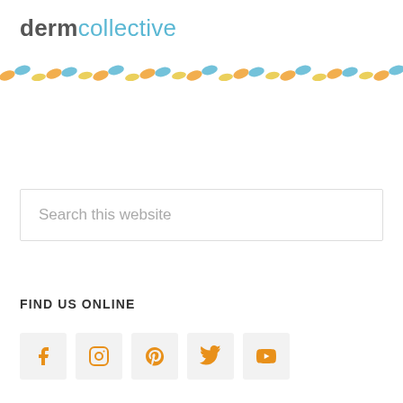dermcollective
[Figure (illustration): Decorative wavy dashed stripe pattern in orange, blue, and yellow colors across the full width of the page.]
Search this website
FIND US ONLINE
[Figure (infographic): Row of five social media icon buttons: Facebook, Instagram, Pinterest, Twitter, YouTube — all in orange color on light grey square backgrounds.]